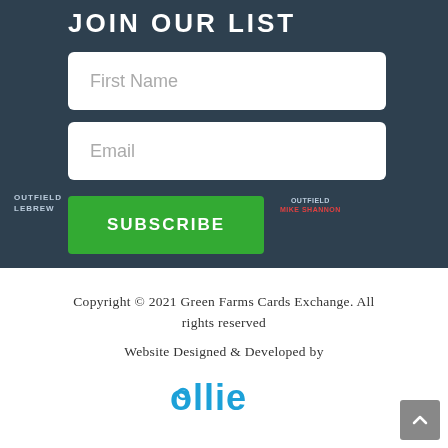JOIN OUR LIST
[Figure (screenshot): Form input field with placeholder text 'First Name' on a dark baseball cards background]
[Figure (screenshot): Form input field with placeholder text 'Email' on a dark baseball cards background]
[Figure (screenshot): Green SUBSCRIBE button]
Copyright © 2021 Green Farms Cards Exchange. All rights reserved
Website Designed & Developed by
[Figure (logo): Ollie logo in blue text]
[Figure (screenshot): Scroll to top button (grey square with up arrow) at bottom right]